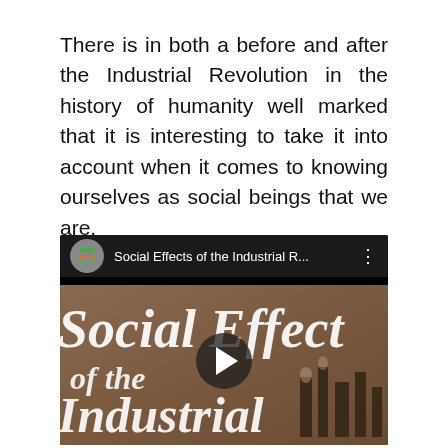There is in both a before and after the Industrial Revolution in the history of humanity well marked that it is interesting to take it into account when it comes to knowing ourselves as social beings that we are.
[Figure (screenshot): YouTube video thumbnail/player showing 'Social Effects of the Industrial R...' with a sepia-toned image showing large white text 'Social Effects of the Industrial' overlaid on a historical industrial scene with factory smokestacks. A play button is visible in the center. The channel icon and video title are shown in the top bar.]